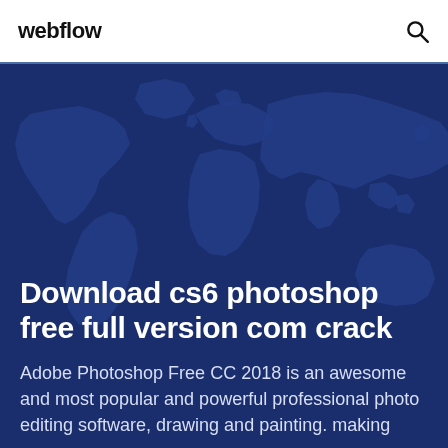webflow
[Figure (illustration): World map illustration with blue tones on dark navy background, used as hero background]
Download cs6 photoshop free full version com crack
Adobe Photoshop Free CC 2018 is an awesome and most popular and powerful professional photo editing software, drawing and painting. making